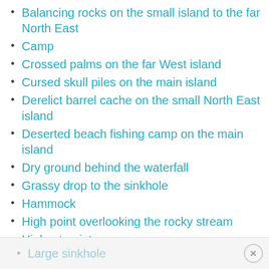Balancing rocks on the small island to the far North East
Camp
Crossed palms on the far West island
Cursed skull piles on the main island
Derelict barrel cache on the small North East island
Deserted beach fishing camp on the main island
Dry ground behind the waterfall
Grassy drop to the sinkhole
Hammock
High point overlooking the rocky stream
Highest point
Large sinkhole